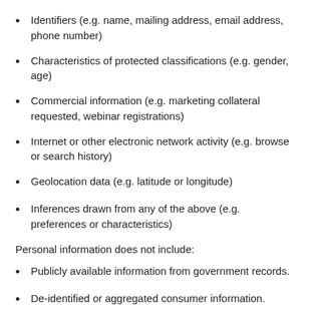Identifiers (e.g. name, mailing address, email address, phone number)
Characteristics of protected classifications (e.g. gender, age)
Commercial information (e.g. marketing collateral requested, webinar registrations)
Internet or other electronic network activity (e.g. browse or search history)
Geolocation data (e.g. latitude or longitude)
Inferences drawn from any of the above (e.g. preferences or characteristics)
Personal information does not include:
Publicly available information from government records.
De-identified or aggregated consumer information.
Information excluded from the CCPA's scope, like: